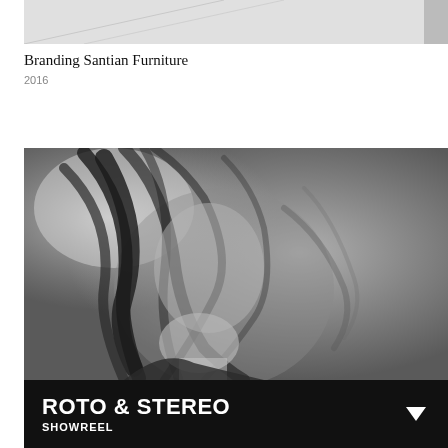[Figure (photo): Partial top crop of a grayscale image, light gray background with faint diagonal lines]
Branding Santian Furniture
2016
[Figure (photo): Black and white dramatic portrait photo of a woman with long flowing dark hair covering her face, hair motion-blurred, light background]
ROTO & STEREO
SHOWREEL